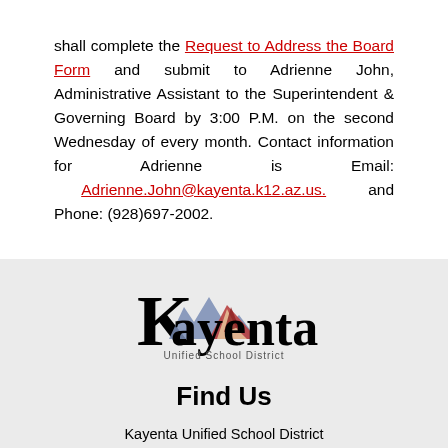shall complete the Request to Address the Board Form and submit to Adrienne John, Administrative Assistant to the Superintendent & Governing Board by 3:00 P.M. on the second Wednesday of every month. Contact information for Adrienne is Email: Adrienne.John@kayenta.k12.az.us. and Phone: (928)697-2002.
[Figure (logo): Kayenta Unified School District logo with stylized mountain silhouette and the text 'Kayenta Unified School District']
Find Us
Kayenta Unified School District
North Highway 163; Mustang Boulevard; PO Box 337
Kayenta, AZ 86033